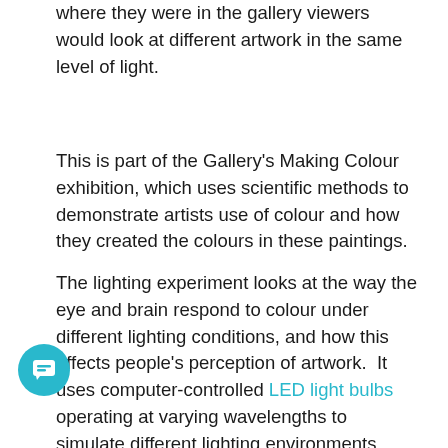where they were in the gallery viewers would look at different artwork in the same level of light.
This is part of the Gallery's Making Colour exhibition, which uses scientific methods to demonstrate artists use of colour and how they created the colours in these paintings.
The lighting experiment looks at the way the eye and brain respond to colour under different lighting conditions, and how this affects people's perception of artwork. It uses computer-controlled LED light bulbs operating at varying wavelengths to simulate different lighting environments.
The way the experiments worked was members of the public watched the effect of the changing light on a painting and indicated